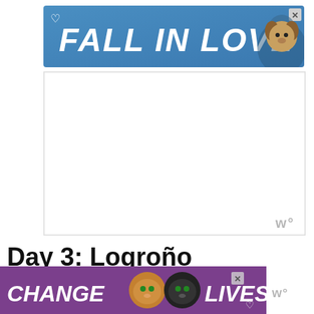[Figure (other): Advertisement banner with blue background showing text 'FALL IN LOVE' in white italic bold font with a dog image on the right side, heart icon top-left, and close X button top-right]
[Figure (other): White rectangular ad placeholder box with a small wordmark 'w°' in grey at bottom-right]
Day 3: Logroño
On your third day, you will drive from Zaragoza to Logroño which is the capital of the autonomous region of La Rioja and known for its delicious wine. If you
[Figure (other): Advertisement banner with purple background showing two cat images and text 'CHANGE LIVES' in white italic bold font, with close X button and heart icon]